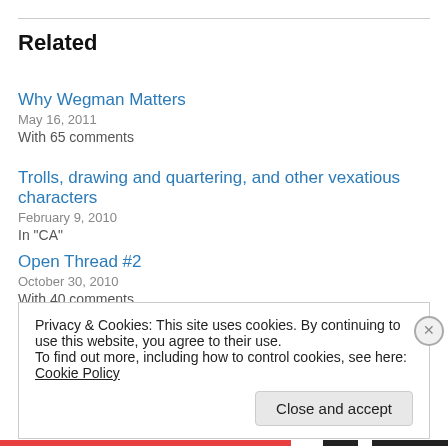Related
Why Wegman Matters
May 16, 2011
With 65 comments
Trolls, drawing and quartering, and other vexatious characters
February 9, 2010
In "CA"
Open Thread #2
October 30, 2010
With 40 comments
Privacy & Cookies: This site uses cookies. By continuing to use this website, you agree to their use.
To find out more, including how to control cookies, see here: Cookie Policy